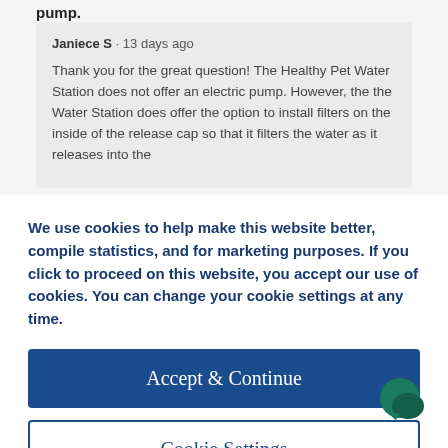pump.
Janiece S · 13 days ago
Thank you for the great question! The Healthy Pet Water Station does not offer an electric pump. However, the the Water Station does offer the option to install filters on the inside of the release cap so that it filters the water as it releases into the
We use cookies to help make this website better, compile statistics, and for marketing purposes. If you click to proceed on this website, you accept our use of cookies. You can change your cookie settings at any time.
Accept & Continue
Cookie Settings